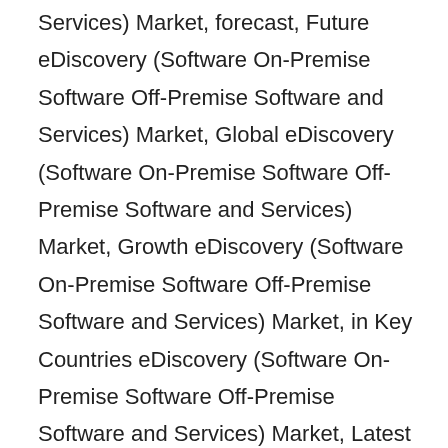Services) Market, forecast, Future eDiscovery (Software On-Premise Software Off-Premise Software and Services) Market, Global eDiscovery (Software On-Premise Software Off-Premise Software and Services) Market, Growth eDiscovery (Software On-Premise Software Off-Premise Software and Services) Market, in Key Countries eDiscovery (Software On-Premise Software Off-Premise Software and Services) Market, Latest Report eDiscovery (Software On-Premise Software Off-Premise Software and Services) Market, Report eDiscovery (Software On-Premise Software Off-Premise Software and Services) Market, Research Report eDiscovery (Software On-Premise Software Off-Premise Software and Services) Market, share